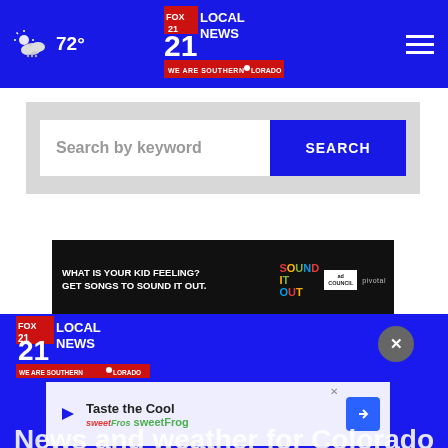72° | FOX 21 LOCAL NEWS — WE ARE SOUTHERN COLORADO
[Figure (screenshot): Search box with 'Search by keyword' placeholder and blue SEARCH button on grey background]
[Figure (screenshot): Ad banner: WHAT IS YOUR KID FEELING? GET SONGS TO SOUND IT OUT. — Sound It Out, Ad Council, Pivotal]
[Figure (logo): FOX 21 LOCAL NEWS — WE ARE SOUTHERN COLORADO logo in blue footer]
[Figure (screenshot): sweetFrog ad: Taste the Cool, sweetFrog with navigation arrow icon]
News and weather for Colorado